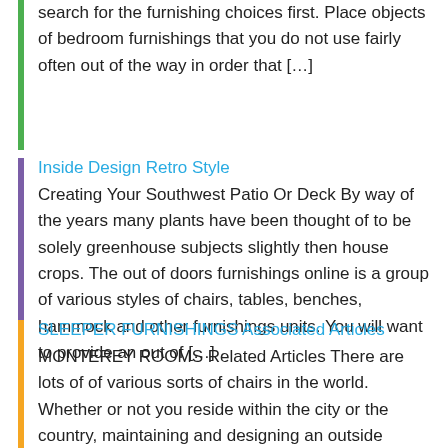search for the furnishing choices first. Place objects of bedroom furnishings that you do not use fairly often out of the way in order that […]
Inside Design Retro Style
Creating Your Southwest Patio Or Deck By way of the years many plants have been thought of to be solely greenhouse subjects slightly then house crops. The out of doors furnishings online is a group of various styles of chairs, tables, benches, hammock and other furnishings units. You will want to provide an out of […]
SLEEPER FURNISHINGS Associated Articles
MONTEREY ROOMS Related Articles There are lots of of various sorts of chairs in the world. Whether or not you reside within the city or the country, maintaining and designing an outside house can take some time. There are a lot of types of materials utilized in decking